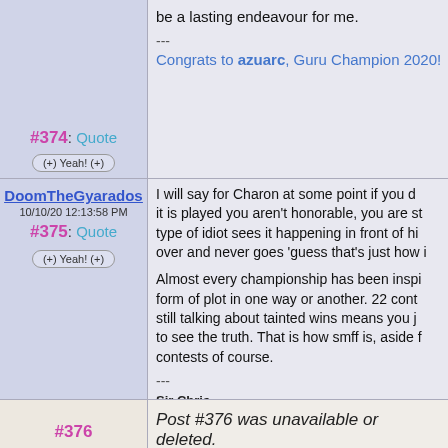#374: Quote
(+) Yeah! (+)
be a lasting endeavour for me.
---
Congrats to azuarc, Guru Champion 2020!
DoomTheGyarados
10/10/20 12:13:58 PM
#375: Quote
(+) Yeah! (+)
I will say for Charon at some point if you d... it is played you aren't honorable, you are st... type of idiot sees it happening in front of hi... over and never goes 'guess that's just how i...

Almost every championship has been inspi... form of plot in one way or another. 22 cont... still talking about tainted wins means you j... to see the truth. That is how smff is, aside f... contests of course.

---
Sir Chris
Doom The Kanto Saga - Animated Series -
https://www.youtube.com/watch?v=6hH4wNFCrL...
#376
Post #376 was unavailable or deleted.
v_charon
Grimlyn posted...